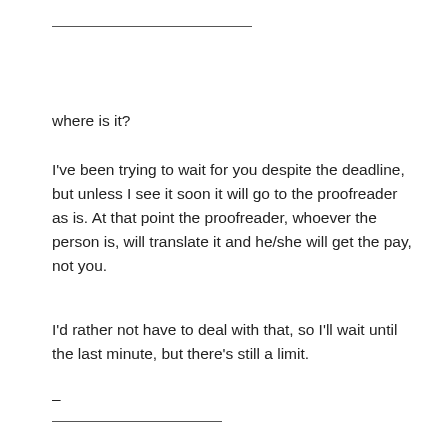—
where is it?
I've been trying to wait for you despite the deadline, but unless I see it soon it will go to the proofreader as is. At that point the proofreader, whoever the person is, will translate it and he/she will get the pay, not you.
I'd rather not have to deal with that, so I'll wait until the last minute, but there's still a limit.
–
—